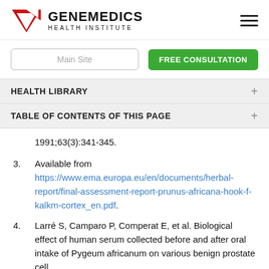[Figure (logo): Genemedics Health Institute logo with red downward-pointing chevron/G shape and text]
Main Site
FREE CONSULTATION
HEALTH LIBRARY
TABLE OF CONTENTS OF THIS PAGE
1991;63(3):341-345.
3. Available from https://www.ema.europa.eu/en/documents/herbal-report/final-assessment-report-prunus-africana-hook-f-kalkm-cortex_en.pdf.
4. Larré S, Camparo P, Comperat E, et al. Biological effect of human serum collected before and after oral intake of Pygeum africanum on various benign prostate cell